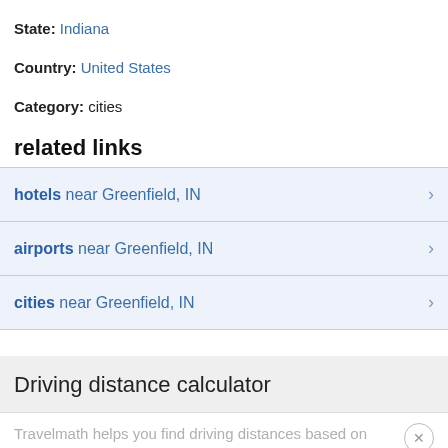State: Indiana
Country: United States
Category: cities
related links
hotels near Greenfield, IN
airports near Greenfield, IN
cities near Greenfield, IN
Driving distance calculator
Travelmath helps you find driving distances based on actual directions for your road trip. You can get the